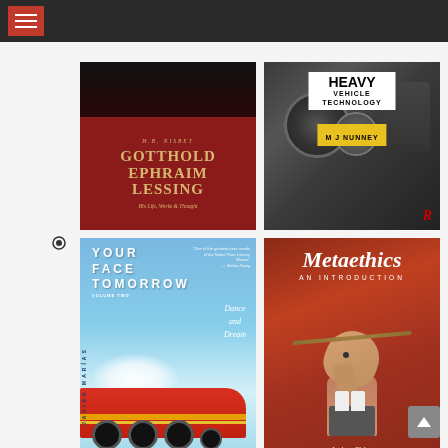[Figure (screenshot): Website screenshot showing a dark top navigation bar with a red hamburger menu button, and a grid of four book covers below on a light gray background.]
[Figure (photo): Book cover: Gotthold Ephraim Lessing - His Life, Works & Thought by H.B. Nisbet. Dark top with portrait, red bottom with gold text.]
[Figure (photo): Book cover: Heavy Vehicle Technology by M J Nunney. Black background with white badge title text and engine photo.]
[Figure (photo): Book cover: Your Face Tomorrow Volume Two - Dance and Dream by Javier Marias. Blue sky background with art deco red train locomotive.]
[Figure (photo): Book cover: Metaethics An Introduction by Andrew Fisher. Red-brown background with bird/animal figure balancing a rod, italic title text.]